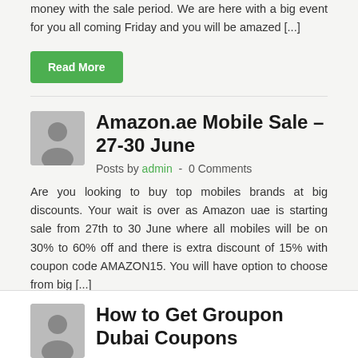money with the sale period. We are here with a big event for you all coming Friday and you will be amazed [...]
Read More
Amazon.ae Mobile Sale – 27-30 June
Posts by admin - 0 Comments
Are you looking to buy top mobiles brands at big discounts. Your wait is over as Amazon uae is starting sale from 27th to 30 June where all mobiles will be on 30% to 60% off and there is extra discount of 15% with coupon code AMAZON15. You will have option to choose from big [...]
Read More
How to Get Groupon Dubai Coupons